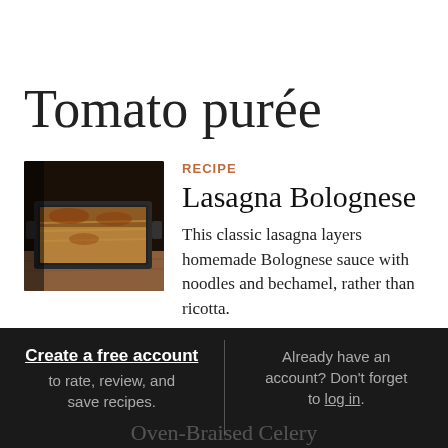Tomato purée
[Figure (photo): Photo of lasagna bolognese in a dark baking dish on a wooden board]
RECIPE
Lasagna Bolognese
This classic lasagna layers homemade Bolognese sauce with noodles and bechamel, rather than ricotta.
Create a free account to rate, review, and save recipes. | Already have an account? Don't forget to log in.